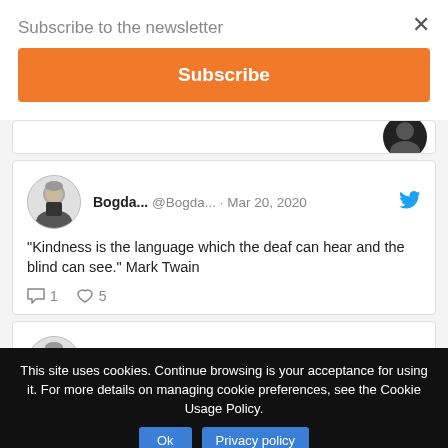Subscribe to the newsletter
Subscribe
[Figure (screenshot): Partial tweet card visible at top]
Bogda... @Bogda... · Mar 20, 2020
"Kindness is the language which the deaf can hear and the blind can see."
Mark Twain
💬 1  ♡ 5
Bogda... @Bogda... · Mar 20, 2020
It's better to catch any toxic behavior before the person joins your company
This site uses cookies. Continue browsing is your acceptance for using it. For more details on managing cookie preferences, see the Cookie Usage Policy.